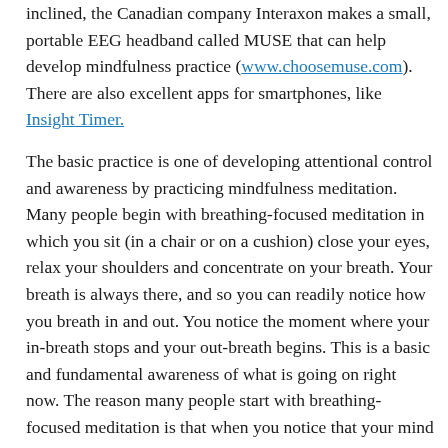inclined, the Canadian company Interaxon makes a small, portable EEG headband called MUSE that can help develop mindfulness practice (www.choosemuse.com). There are also excellent apps for smartphones, like Insight Timer.
The basic practice is one of developing attentional control and awareness by practicing mindfulness meditation. Many people begin with breathing-focused meditation in which you sit (in a chair or on a cushion) close your eyes, relax your shoulders and concentrate on your breath. Your breath is always there, and so you can readily notice how you breath in and out. You notice the moment where your in-breath stops and your out-breath begins. This is a basic and fundamental awareness of what is going on right now. The reason many people start with breathing-focused meditation is that when you notice that your mind begins to wander, you can pull your attention back to your breath. The pulling back is the subtle control that comes from awareness and this is at the heart of the practice. The skill you are developing with mindfulness is attentional control.